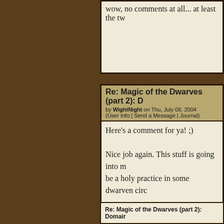wow, no comments at all... at least the tw
Re: Magic of the Dwarves (part 2): D...
by WightNight on Thu, July 08, 2004
(User Info | Send a Message | Journal)
Here's a comment for ya! ;)

Nice job again. This stuff is going into my... be a holy practice in some dwarven circ...

-wn
Re: Magic of the Dwarves (part 2): D...
by Devon on Fri, August 27, 2004
(User Info | Send a Message)
great work....I loved it and u fulled a ho...
Re: Magic of the Dwarves (part 2): Domain...